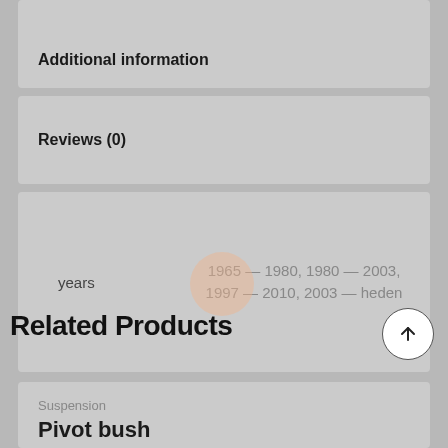Additional information
Reviews (0)
| years |  |
| --- | --- |
| years | 1965 — 1980, 1980 — 2003, 1997 — 2010, 2003 — heden |
Related Products
Suspension
Pivot bush